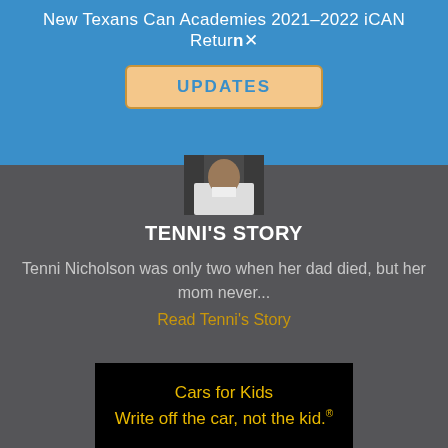New Texans Can Academies 2021–2022 iCAN Return
UPDATES
[Figure (photo): Partial photo of a person wearing a white shirt, top portion visible]
TENNI'S STORY
Tenni Nicholson was only two when her dad died, but her mom never...
Read Tenni's Story
[Figure (logo): D CEO Texans Can Academies Nonprofit of the Year 2019 award badge in yellow and red]
[Figure (screenshot): Black banner with yellow text: Cars for Kids Write off the car, not the kid.®]